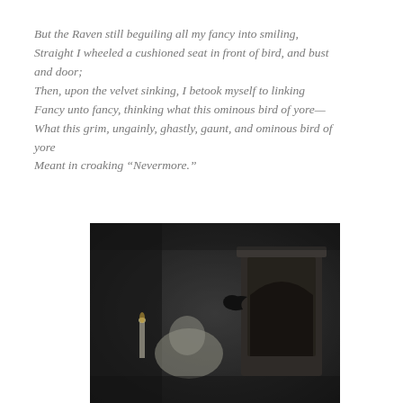But the Raven still beguiling all my fancy into smiling, Straight I wheeled a cushioned seat in front of bird, and bust and door; Then, upon the velvet sinking, I betook myself to linking Fancy unto fancy, thinking what this ominous bird of yore— What this grim, ungainly, ghastly, gaunt, and ominous bird of yore Meant in croaking "Nevermore."
[Figure (illustration): A dark, grayscale illustration depicting a gothic interior scene with a figure, a raven, and an ornate fireplace or mantelpiece in the background.]